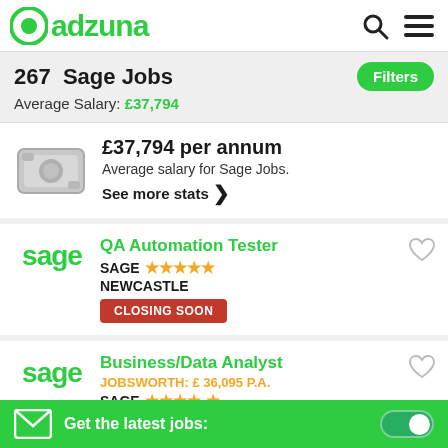adzuna
267 Sage Jobs
Average Salary: £37,794
£37,794 per annum
Average salary for Sage Jobs.
See more stats
QA Automation Tester
SAGE ★★★★★
NEWCASTLE
CLOSING SOON
Business/Data Analyst
JOBSWORTH: £ 36,095 P.A.
SAGE ★★★★★
Get the latest jobs: